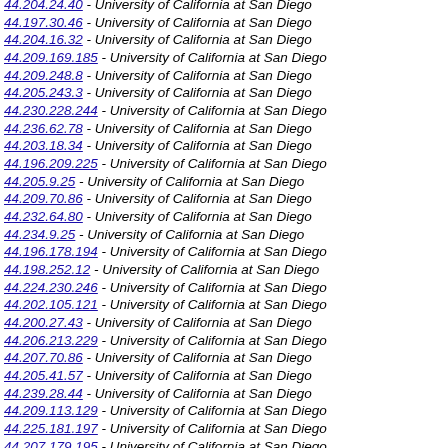44.204.24.40 - University of California at San Diego
44.197.30.46 - University of California at San Diego
44.204.16.32 - University of California at San Diego
44.209.169.185 - University of California at San Diego
44.209.248.8 - University of California at San Diego
44.205.243.3 - University of California at San Diego
44.230.228.244 - University of California at San Diego
44.236.62.78 - University of California at San Diego
44.203.18.34 - University of California at San Diego
44.196.209.225 - University of California at San Diego
44.205.9.25 - University of California at San Diego
44.209.70.86 - University of California at San Diego
44.232.64.80 - University of California at San Diego
44.234.9.25 - University of California at San Diego
44.196.178.194 - University of California at San Diego
44.198.252.12 - University of California at San Diego
44.224.230.246 - University of California at San Diego
44.202.105.121 - University of California at San Diego
44.200.27.43 - University of California at San Diego
44.206.213.229 - University of California at San Diego
44.207.70.86 - University of California at San Diego
44.205.41.57 - University of California at San Diego
44.239.28.44 - University of California at San Diego
44.209.113.129 - University of California at San Diego
44.225.181.197 - University of California at San Diego
44.207.179.195 - University of California at San Diego
44.207.60.76 - University of California at San Diego
44.200.205.221 - University of California at San Diego
44.194.204.220 - University of California at San Diego
44.195.193.209 - University of California at San Diego